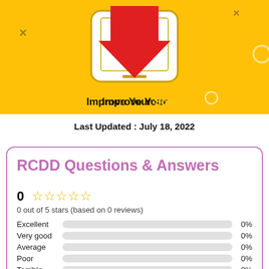[Figure (illustration): Yellow banner with phone outline, red download arrow, X marks, circle decoration, and 'Improve Your Score' text]
Last Updated : July 18, 2022
RCDD Questions & Answers
0 ☆☆☆☆☆
0 out of 5 stars (based on 0 reviews)
| Rating | Bar | Percentage |
| --- | --- | --- |
| Excellent |  | 0% |
| Very good |  | 0% |
| Average |  | 0% |
| Poor |  | 0% |
| Terrible |  | 0% |